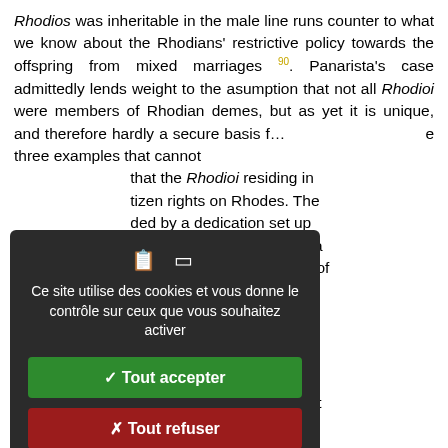Rhodios was inheritable in the male line runs counter to what we know about the Rhodians' restrictive policy towards the offspring from mixed marriages 90. Panarista's case admittedly lends weight to the asumption that not all Rhodioi were members of Rhodian demes, but as yet it is unique, and therefore hardly a secure basis f... e three examples that cannot that the Rhodioi residing in tizen rights on Rhodes. The ded by a dedication set up the Tarmianoi in honour of a s, who had been in charge of nd had also done service in y was a Rhodios from the believe, and as such not a n, then it would be hard to ank of a Rhodian military ce we drop the premise that here he was honoured: he s gratitude when serving as Peraia. This seems all the es son of Sosinikos, who
[Figure (screenshot): Cookie consent modal overlay on a dark background. Shows icons, French text 'Ce site utilise des cookies et vous donne le contrôle sur ceux que vous souhaitez activer', a green 'Tout accepter' button, a red 'Tout refuser' button, a white 'Personnaliser' button, and a 'Politique de confidentialité' link.]